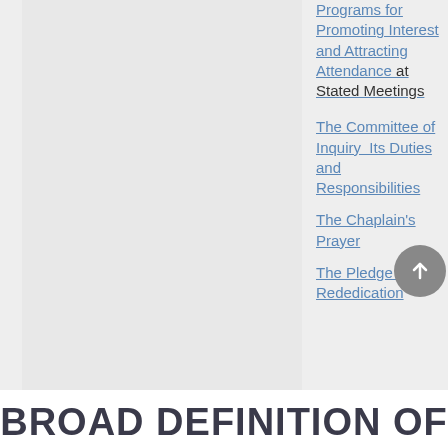Programs for Promoting Interest and Attracting Attendance at Stated Meetings
The Committee of Inquiry  Its Duties and Responsibilities
The Chaplain's Prayer
The Pledge of Rededication
BROAD DEFINITION OF